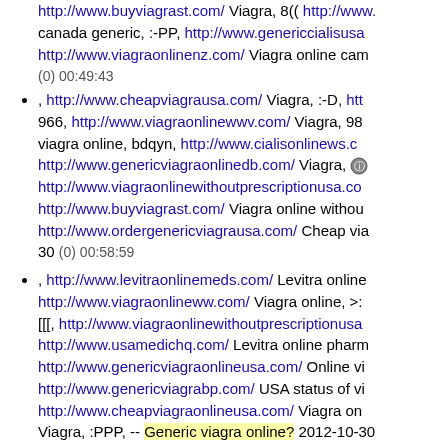http://www.buyviagrast.com/ Viagra, 8(( http://www... canada generic, :-PP, http://www.genericcialisusa... http://www.viagraonlinenz.com/ Viagra online cam (0) 00:49:43
, http://www.cheapviagrausa.com/ Viagra, :-D, htt... 966, http://www.viagraonlinewwv.com/ Viagra, 98... viagra online, bdqyn, http://www.cialisonlinews.c... http://www.genericviagraonlinedb.com/ Viagra, http://www.viagraonlinewithoutprescriptionusa.co... http://www.buyviagrast.com/ Viagra online withou... http://www.ordergenericviagrausa.com/ Cheap via... 30 (0) 00:58:59
, http://www.levitraonlinemeds.com/ Levitra online... http://www.viagraonlineww.com/ Viagra online, >:... [[[, http://www.viagraonlinewithoutprescriptionusa... http://www.usamedichq.com/ Levitra online pharm... http://www.genericviagraonlineusa.com/ Online vi... http://www.genericviagrabp.com/ USA status of vi... http://www.cheapviagraonlineusa.com/ Viagra on... Viagra, :PPP, -- Generic viagra online? 2012-10-30
, http://www.usagenericcialis.com/ Generic cialis, ... Cialis vs viagra, 454, http://www.cialisonlinehq.c... http://www.genericviagraonlineuk.com/ Viagra, 8( http://www.genericviagrast.com/ Buy viagra, dnj, ... viagra, 8-OO, http://www.viagraonlineuuk.com/ Vi... http://www.cheapviagraweb.com/ Viagra online, :
, http://www.viagraonlinepharmacyusa.com/ Viag...